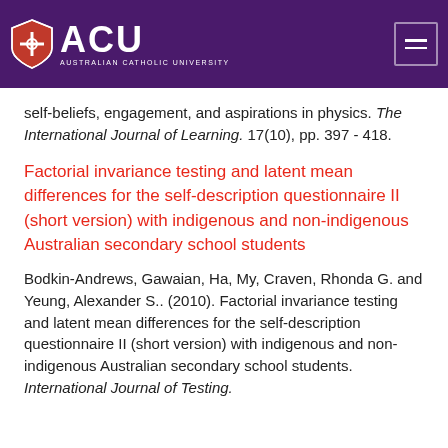[Figure (logo): ACU - Australian Catholic University logo with shield icon on purple header bar with hamburger menu icon on right]
self-beliefs, engagement, and aspirations in physics. The International Journal of Learning. 17(10), pp. 397 - 418.
Factorial invariance testing and latent mean differences for the self-description questionnaire II (short version) with indigenous and non-indigenous Australian secondary school students
Bodkin-Andrews, Gawaian, Ha, My, Craven, Rhonda G. and Yeung, Alexander S.. (2010). Factorial invariance testing and latent mean differences for the self-description questionnaire II (short version) with indigenous and non-indigenous Australian secondary school students. International Journal of Testing.